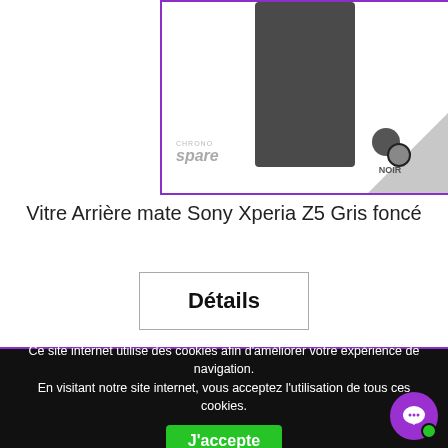[Figure (photo): Product image of Sony Xperia Z5 rear glass panel (dark grey/graphite color) inside a purple-bordered box. ChronoSpare logo bottom-left, NOIR badge bottom-right with grey triangle corner.]
Vitre Arrière mate Sony Xperia Z5 Gris foncé
Détails
Ce site internet utilise des cookies afin d'améliorer votre expérience de navigation.
En visitant notre site internet, vous acceptez l'utilisation de tous ces cookies.
J'accepte